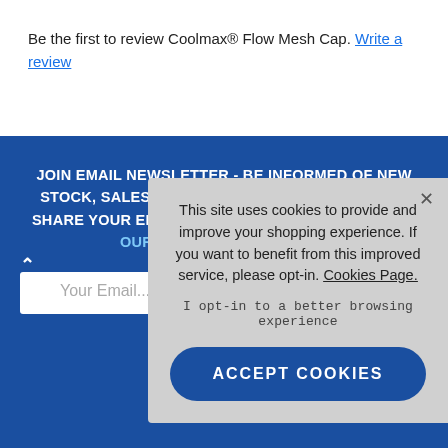Be the first to review Coolmax® Flow Mesh Cap. Write a review
JOIN EMAIL NEWSLETTER - BE INFORMED OF NEW STOCK, SALES AND LATEST OFFERS. WE DO NOT SHARE YOUR EMAIL WITH ANY THIRD PARTIES. SEE OUR PRIVACY POLICY HERE
Your Email...
To see how...
↑ TOP
This site uses cookies to provide and improve your shopping experience. If you want to benefit from this improved service, please opt-in. Cookies Page.
I opt-in to a better browsing experience
ACCEPT COOKIES